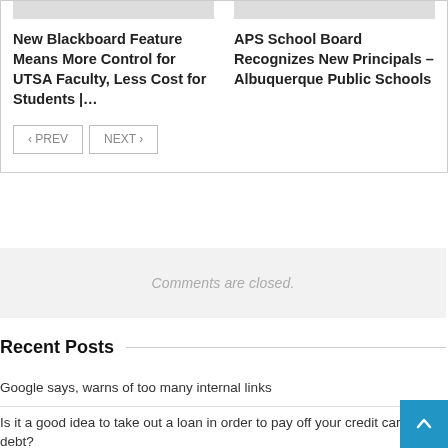[Figure (screenshot): Navigation card with two article links: 'New Blackboard Feature Means More Control for UTSA Faculty, Less Cost for Students |...' and 'APS School Board Recognizes New Principals – Albuquerque Public Schools', with PREV and NEXT navigation buttons]
Comments are closed.
Recent Posts
Google says, warns of too many internal links
Is it a good idea to take out a loan in order to pay off your credit card debt?
Governor Lamont points to study ranking Connecticut as the state with the